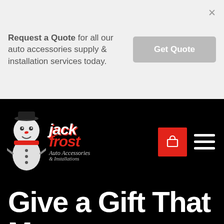Request a Quote for all our auto accessories supply & installation services today.
[Figure (screenshot): Get Quote button (grey rounded rectangle)]
[Figure (logo): Jack Frost Auto Accessories & Installations logo with mascot snowman character, red and white italic text]
[Figure (screenshot): Red square button with shopping cart icon and hamburger menu icon in white on black navbar]
Give a Gift That Means Something